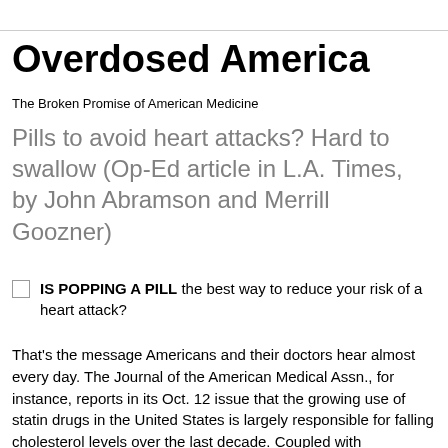Overdosed America
The Broken Promise of American Medicine
Pills to avoid heart attacks? Hard to swallow (Op-Ed article in L.A. Times, by John Abramson and Merrill Goozner)
IS POPPING A PILL the best way to reduce your risk of a heart attack?
That's the message Americans and their doctors hear almost every day. The Journal of the American Medical Assn., for instance, reports in its Oct. 12 issue that the growing use of statin drugs in the United States is largely responsible for falling cholesterol levels over the last decade. Coupled with